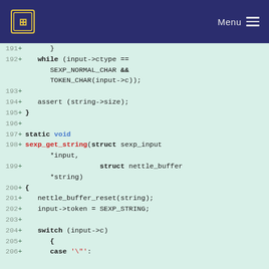Menu
Code diff view showing lines 191-206 of a C source file with additions marked by '+'.